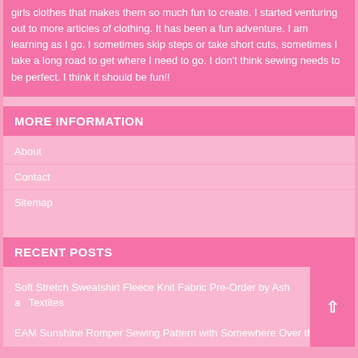girls clothes that makes them so much fun to create.  I started venturing out to more articles of clothing.  It has been a fun adventure. I am learning as I go.  I sometimes skip steps or take short cuts, sometimes I take a long road to get where I need to go.  I don't think sewing needs to be perfect. I think it should be fun!!
MORE INFORMATION
About
Contact
Sitemap
RECENT POSTS
Soft Stretch Sweatshirt Fleece Knit Fabric Pre-Order by Ash and Textites
EAM Sunshine Romper Sewing Pattern with Somewhere Over the